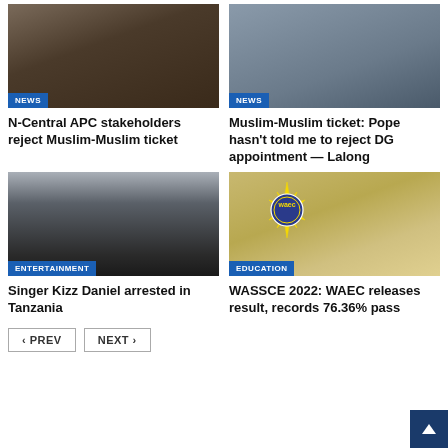[Figure (photo): News photo top left with NEWS badge]
[Figure (photo): News photo top right with NEWS badge]
N-Central APC stakeholders reject Muslim-Muslim ticket
Muslim-Muslim ticket: Pope hasn't told me to reject DG appointment — Lalong
[Figure (photo): Singer Kizz Daniel photo with ENTERTAINMENT badge]
[Figure (photo): WAEC exam photo with EDUCATION badge and WAEC logo]
Singer Kizz Daniel arrested in Tanzania
WASSCE 2022: WAEC releases result, records 76.36% pass